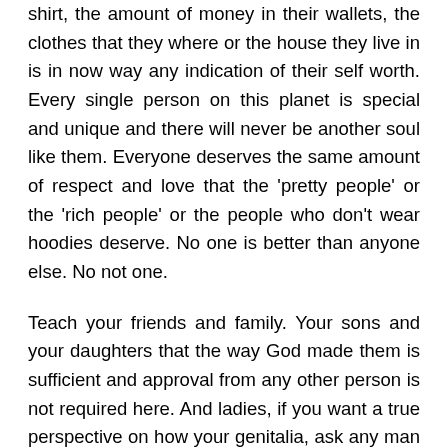shirt, the amount of money in their wallets, the clothes that they where or the house they live in is in now way any indication of their self worth. Every single person on this planet is special and unique and there will never be another soul like them. Everyone deserves the same amount of respect and love that the 'pretty people' or the 'rich people' or the people who don't wear hoodies deserve. No one is better than anyone else. No not one.
Teach your friends and family. Your sons and your daughters that the way God made them is sufficient and approval from any other person is not required here. And ladies, if you want a true perspective on how your genitalia, ask any man how he feels about the subject. I guarantee he will tell you that the way God made a woman is one of the most beautiful sights to behold. Snow capped mountains, the arms of the Milky Way on a cool Winter